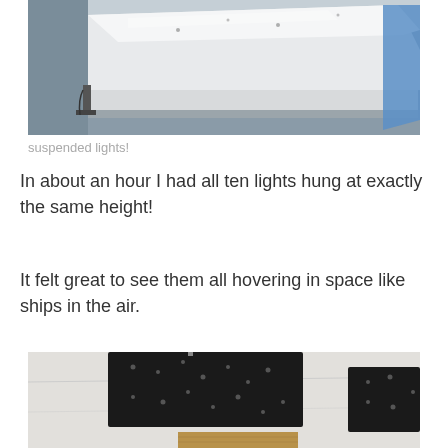[Figure (photo): Close-up photo of a suspended white lighting panel/fixture attached to ceiling, showing the underside and edge with blue protective film visible]
suspended lights!
In about an hour I had all ten lights hung at exactly the same height!
It felt great to see them all hovering in space like ships in the air.
[Figure (photo): Photo looking up at ceiling showing multiple dark rectangular suspended light panels installed, with white drywall ceiling visible between them]